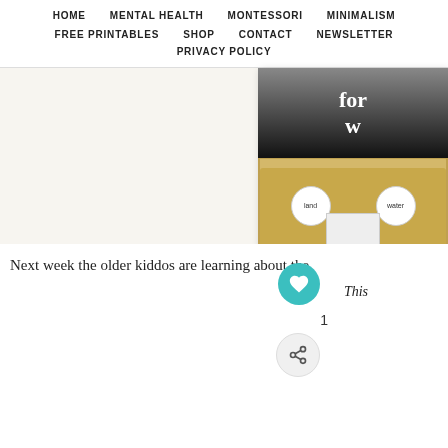HOME | MENTAL HEALTH | MONTESSORI | MINIMALISM | FREE PRINTABLES | SHOP | CONTACT | NEWSLETTER | PRIVACY POLICY
[Figure (photo): Partially visible blog post card showing text 'for w...' on dark background and a Montessori tray with two cups labeled 'land' and 'water' on a wooden tray with a paper below]
This
1
Next week the older kiddos are learning about the